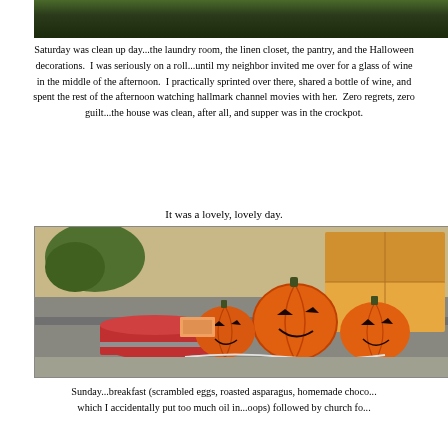[Figure (photo): Top portion of a photo showing dark green foliage/trees against a dark background, cropped at the top of the page]
Saturday was clean up day...the laundry room, the linen closet, the pantry, and the Halloween decorations.  I was seriously on a roll...until my neighbor invited me over for a glass of wine in the middle of the afternoon.  I practically sprinted over there, shared a bottle of wine, and spent the rest of the afternoon watching hallmark channel movies with her.  Zero regrets, zero guilt...the house was clean, after all, and supper was in the crockpot.
It was a lovely, lovely day.
[Figure (photo): Photo of Halloween jack-o-lantern pumpkins and decorations laid out on a table outdoors, with a cardboard box, red container, and other items, being packed or unpacked]
Sunday...breakfast (scrambled eggs, roasted asparagus, homemade choco... which I accidentally put too much oil in...oops) followed by church fo...